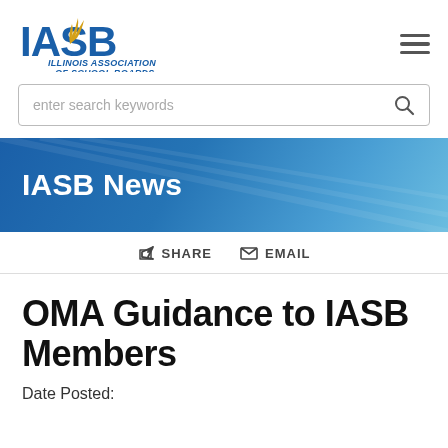[Figure (logo): IASB Illinois Association of School Boards logo with stylized 'IASB' text and flame/wheat symbol]
enter search keywords
[Figure (illustration): Blue banner with text 'IASB News']
IASB News
SHARE  EMAIL
OMA Guidance to IASB Members
Date Posted: